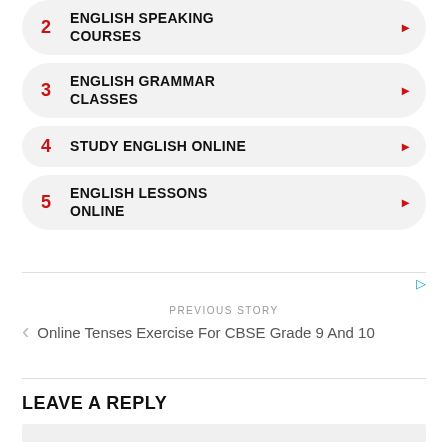2 ENGLISH SPEAKING COURSES
3 ENGLISH GRAMMAR CLASSES
4 STUDY ENGLISH ONLINE
5 ENGLISH LESSONS ONLINE
PREVIOUS STORY
Online Tenses Exercise For CBSE Grade 9 And 10
LEAVE A REPLY